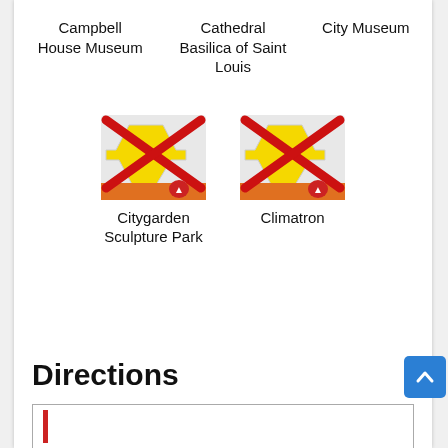Campbell House Museum
Cathedral Basilica of Saint Louis
City Museum
[Figure (screenshot): Map icon with red X overlay representing Citygarden Sculpture Park]
Citygarden Sculpture Park
[Figure (screenshot): Map icon with red X overlay representing Climatron]
Climatron
Directions